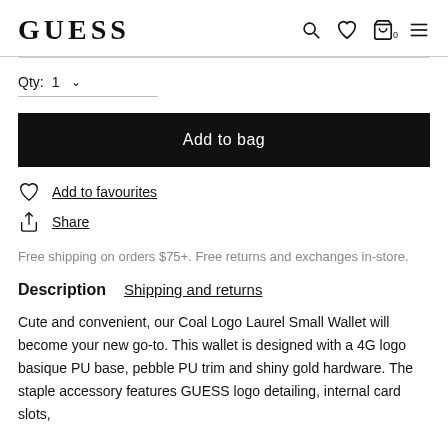GUESS
Qty: 1
Add to bag
Add to favourites
Share
Free shipping on orders $75+. Free returns and exchanges in-store.
Description   Shipping and returns
Cute and convenient, our Coal Logo Laurel Small Wallet will become your new go-to. This wallet is designed with a 4G logo basique PU base, pebble PU trim and shiny gold hardware. The staple accessory features GUESS logo detailing, internal card slots,